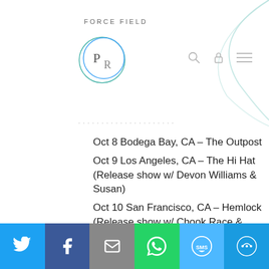FORCE FIELD
Oct 8 Bodega Bay, CA – The Outpost
Oct 9 Los Angeles, CA – The Hi Hat (Release show w/ Devon Williams & Susan)
Oct 10 San Francisco, CA – Hemlock (Release show w/ Chook Race & Lovebirds)
Oct 22 Baltimore, MD – U+N Fest
Oct 23 Philadelphia, PA – Kung Fu Necktie
Oct 24 Brooklyn, NY – Shea Stadium
Social share bar: Twitter, Facebook, Email, WhatsApp, SMS, More